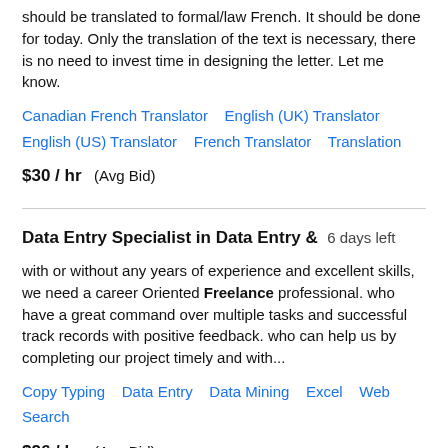should be translated to formal/law French. It should be done for today. Only the translation of the text is necessary, there is no need to invest time in designing the letter. Let me know.
Canadian French Translator   English (UK) Translator   English (US) Translator   French Translator   Translation
$30 / hr   (Avg Bid)
Data Entry Specialist in Data Entry &   6 days left
with or without any years of experience and excellent skills, we need a career Oriented Freelance professional. who have a great command over multiple tasks and successful track records with positive feedback. who can help us by completing our project timely and with...
Copy Typing   Data Entry   Data Mining   Excel   Web Search
$26 / hr   (Avg Bid)